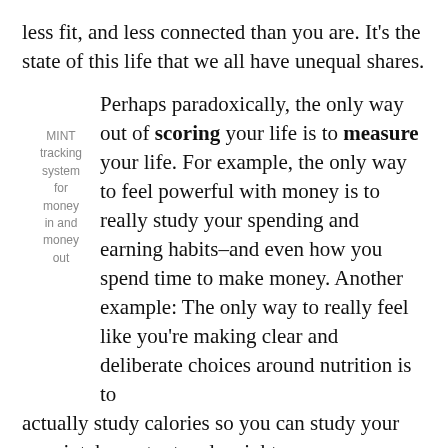less fit, and less connected than you are. It's the state of this life that we all have unequal shares.
Perhaps paradoxically, the only way out of scoring your life is to measure your life. For example, the only way to feel powerful with money is to really study your spending and earning habits–and even how you spend time to make money. Another example: The only way to really feel like you're making clear and deliberate choices around nutrition is to actually study calories so you can study your own intake, output and weight.
MINT tracking system for money in and money out
There's really no way out but through–and we cost ourselves the opportunity to make real